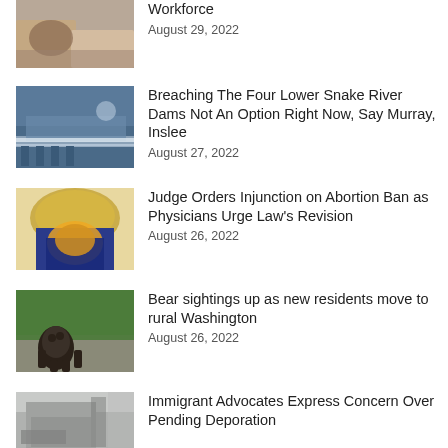[Figure (photo): Partial view of someone working, cropped at top]
Workforce
August 29, 2022
[Figure (photo): Aerial view of a river dam or waterway]
Breaching The Four Lower Snake River Dams Not An Option Right Now, Say Murray, Inslee
August 27, 2022
[Figure (photo): State capitol dome with state flag or seal]
Judge Orders Injunction on Abortion Ban as Physicians Urge Law's Revision
August 26, 2022
[Figure (photo): Black bear walking on a path in a green wooded area]
Bear sightings up as new residents move to rural Washington
August 26, 2022
[Figure (photo): Building exterior with sign, winter trees visible]
Immigrant Advocates Express Concern Over Pending Deporation